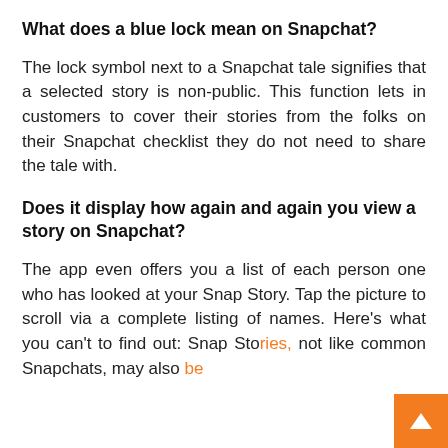What does a blue lock mean on Snapchat?
The lock symbol next to a Snapchat tale signifies that a selected story is non-public. This function lets in customers to cover their stories from the folks on their Snapchat checklist they do not need to share the tale with.
Does it display how again and again you view a story on Snapchat?
The app even offers you a list of each person one who has looked at your Snap Story. Tap the picture to scroll via a complete listing of names. Here’s what you can’t to find out: Snap Stories, not like common Snapchats, may also be